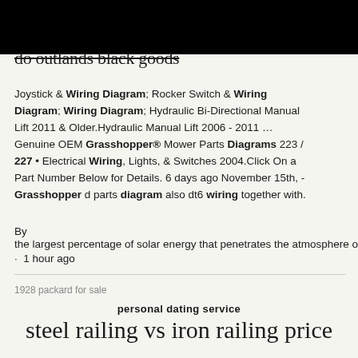do outlands black goods
Joystick & Wiring Diagram; Rocker Switch & Wiring Diagram; Wiring Diagram; Hydraulic Bi-Directional Manual Lift 2011 & Older.Hydraulic Manual Lift 2006-2011 ... Genuine OEM Grasshopper® Mower Parts Diagrams 223 / 227 • Electrical Wiring, Lights, & Switches 2004.Click On a Part Number Below for Details. 6 days ago November 15th, - Grasshopper d parts diagram also dt6 wiring together with.
By
the largest percentage of solar energy that penetrates the atmosphere of the ea
· 1 hour ago
1928 packard for sale
personal dating service
steel railing vs iron railing price
Jul 29, 2014 / Grasshopper serial number breakdown. #2. The 1st # is involved also in determining the yr made. In some examples the first 3 digits. Grasshopper Lawnmower Parts - Grasshopper